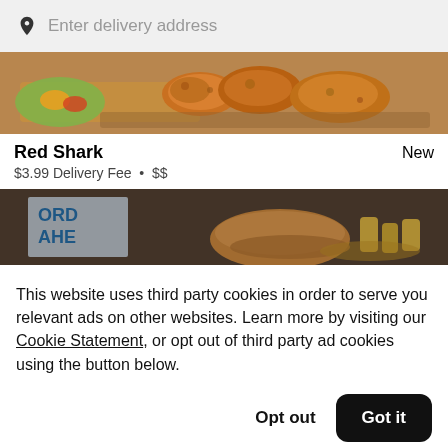Enter delivery address
[Figure (photo): Food delivery app screenshot showing fried chicken in a tray]
Red Shark
New
$3.99 Delivery Fee • $$
[Figure (photo): Restaurant listing image with ORDER AHEAD text and buns/fries]
This website uses third party cookies in order to serve you relevant ads on other websites. Learn more by visiting our Cookie Statement, or opt out of third party ad cookies using the button below.
Opt out
Got it